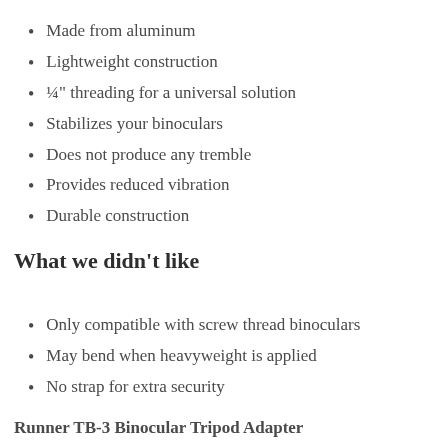Made from aluminum
Lightweight construction
¼" threading for a universal solution
Stabilizes your binoculars
Does not produce any tremble
Provides reduced vibration
Durable construction
What we didn't like
Only compatible with screw thread binoculars
May bend when heavyweight is applied
No strap for extra security